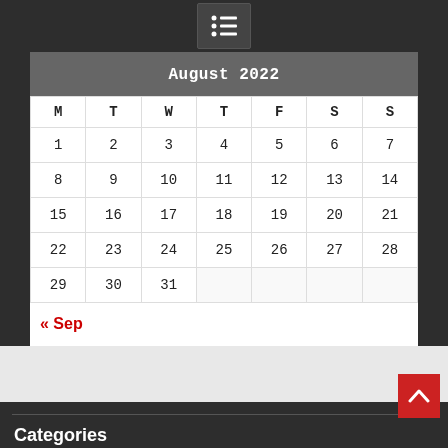| M | T | W | T | F | S | S |
| --- | --- | --- | --- | --- | --- | --- |
| 1 | 2 | 3 | 4 | 5 | 6 | 7 |
| 8 | 9 | 10 | 11 | 12 | 13 | 14 |
| 15 | 16 | 17 | 18 | 19 | 20 | 21 |
| 22 | 23 | 24 | 25 | 26 | 27 | 28 |
| 29 | 30 | 31 |  |  |  |  |
« Sep
Categories